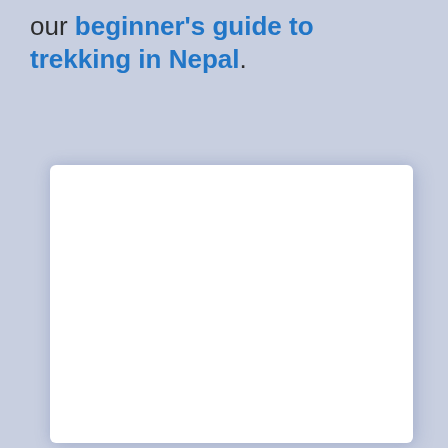our beginner's guide to trekking in Nepal.
[Figure (other): A white card/panel with rounded corners and a soft shadow, occupying the lower three-quarters of the page. The card interior is blank/white.]